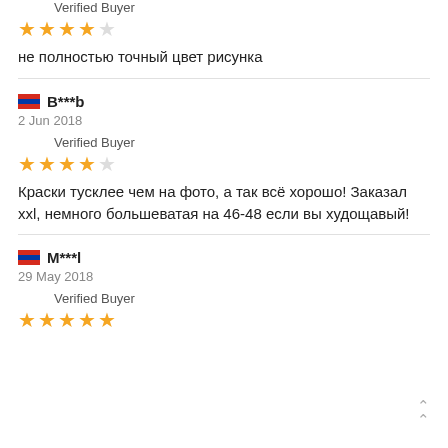Verified Buyer
★★★★☆
не полностью точный цвет рисунка
B***b
2 Jun 2018
Verified Buyer
★★★★☆
Краски тусклее чем на фото, а так всё хорошо! Заказал xxl, немного большеватая на 46-48 если вы худощавый!
M***l
29 May 2018
Verified Buyer
★★★★★